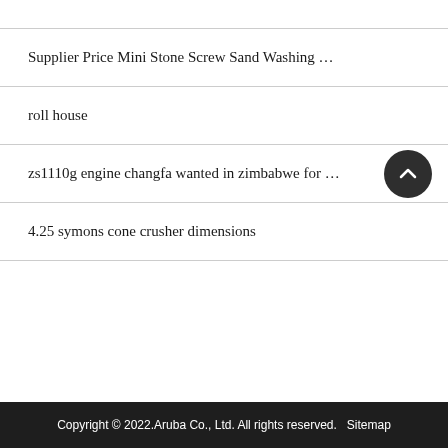Supplier Price Mini Stone Screw Sand Washing …
roll house
zs1110g engine changfa wanted in zimbabwe for …
4.25 symons cone crusher dimensions
Copyright © 2022.Aruba Co., Ltd. All rights reserved.   Sitemap